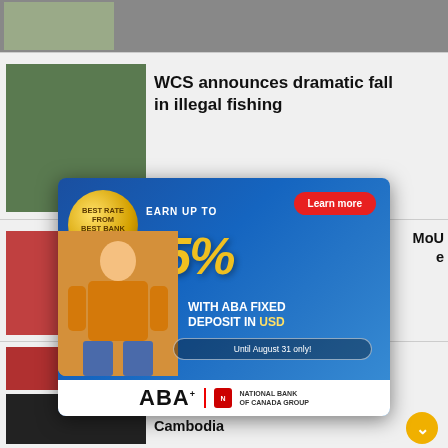[Figure (photo): Top cut-off news article with small thumbnail image of person]
[Figure (photo): News article thumbnail: people near railway tracks, green outdoor setting]
WCS announces dramatic fall in illegal fishing
[Figure (photo): News article thumbnail: person in red setting (partial, obscured by ad)]
MoU ... (partially obscured)
[Figure (photo): News article thumbnail: person with flag, red background (partially obscured)]
...an ...and, (partially obscured)
[Figure (photo): News article thumbnail: dark image]
22 new Covid cases in Cambodia
[Figure (advertisement): ABA Bank advertisement: Earn up to 5.55% with ABA Fixed Deposit in USD. Best rate from Best Bank. Until August 31 only! Learn more button. ABA National Bank of Canada Group logo at bottom. Woman sitting happily.]